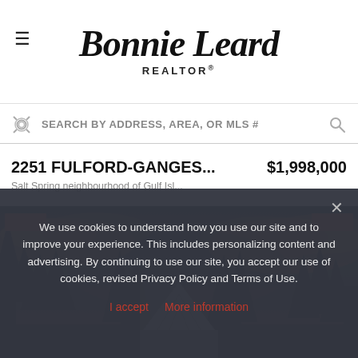[Figure (logo): Bonnie Leard REALTOR logo in script font]
SEARCH BY ADDRESS, AREA, OR MLS #
2251 FULFORD-GANGES... $1,998,000
Salt Spring neighbourhood of Gulf Isl...
[Figure (photo): Exterior photo of a property at dusk/sunset with dark sky and clouds, showing roof peak of a barn-like structure surrounded by trees]
We use cookies to understand how you use our site and to improve your experience. This includes personalizing content and advertising. By continuing to use our site, you accept our use of cookies, revised Privacy Policy and Terms of Use.
I accept  More information